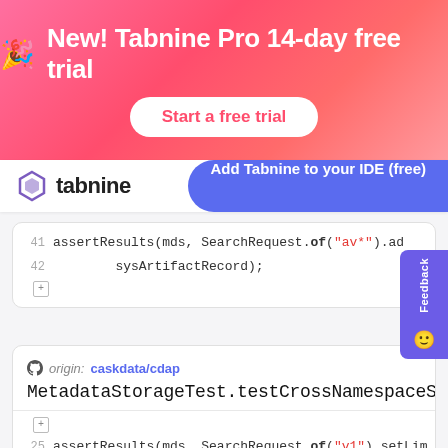[Figure (screenshot): Tabnine Pro 14-day free trial promotional banner with gradient pink/red background, party emoji icon, white text 'New! Tabnine Pro 14-day free trial', and a white 'Start a free trial' button]
[Figure (screenshot): Tabnine website navigation bar with Tabnine logo on left and 'Add Tabnine to your IDE (free)' blue button on right]
assertResults(mds, SearchRequest.of("av*").ad
sysArtifactRecord);
origin: caskdata/cdap
MetadataStorageTest.testCrossNamespaceSearch()
assertResults(mds, SearchRequest.of("v1").setLim
record11, record12, record13, record21, re
assertResults(mds, SearchRequest.of("v2").se im
record12, record21, record22);